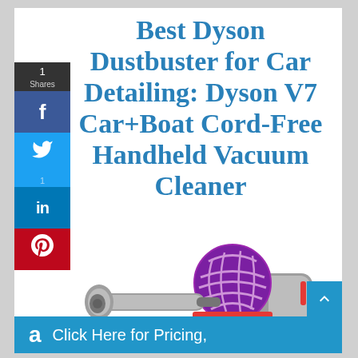Best Dyson Dustbuster for Car Detailing: Dyson V7 Car+Boat Cord-Free Handheld Vacuum Cleaner
[Figure (photo): Photo of Dyson V7 Car+Boat handheld vacuum cleaner in silver/grey with purple cyclone ball and red accents, shown at an angle on a white background]
Click Here for Pricing,